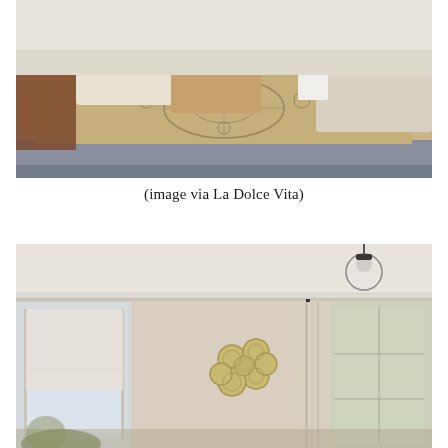[Figure (photo): Interior living room photo showing an ornate patterned area rug in beige and blue tones, with white sofas, a wood coffee table, and white chairs arranged around it.]
(image via La Dolce Vita)
[Figure (photo): Interior room photo showing a cream/beige room with crown molding, large windows with Roman shades and floor-length curtains, decorative plates arranged in a cluster on the wall, and a pendant light fixture.]